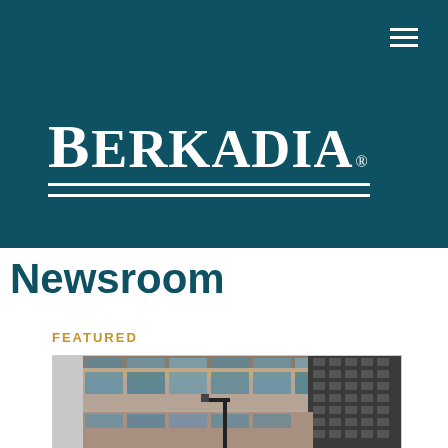BERKADIA®
Newsroom
FEATURED
[Figure (photo): Exterior photo of a tall commercial office building with glass windows and stone facade, viewed from below at an angle]